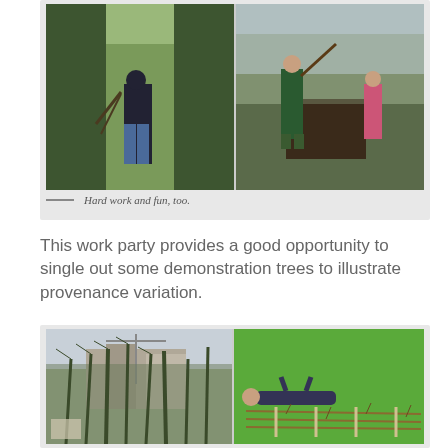[Figure (photo): Two side-by-side photos: left shows a man carrying branches along a grass path between hedgerows; right shows two women working outdoors in a bare winter landscape, one holding branches]
Hard work and fun, too.
This work party provides a good opportunity to single out some demonstration trees to illustrate provenance variation.
[Figure (photo): Two side-by-side photos: left shows tall bare trees/shrubs with buildings and a crane in background; right shows a person lying on green grass next to a row of cut branches/stems laid out on the ground]